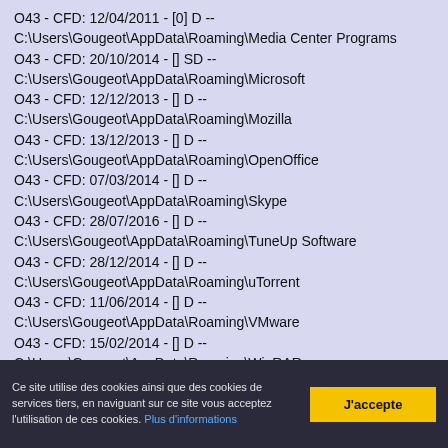O43 - CFD: 12/04/2011 - [0] D -- C:\Users\Gougeot\AppData\Roaming\Media Center Programs
O43 - CFD: 20/10/2014 - [] SD -- C:\Users\Gougeot\AppData\Roaming\Microsoft
O43 - CFD: 12/12/2013 - [] D -- C:\Users\Gougeot\AppData\Roaming\Mozilla
O43 - CFD: 13/12/2013 - [] D -- C:\Users\Gougeot\AppData\Roaming\OpenOffice
O43 - CFD: 07/03/2014 - [] D -- C:\Users\Gougeot\AppData\Roaming\Skype
O43 - CFD: 28/07/2016 - [] D -- C:\Users\Gougeot\AppData\Roaming\TuneUp Software
O43 - CFD: 28/12/2014 - [] D -- C:\Users\Gougeot\AppData\Roaming\uTorrent
O43 - CFD: 11/06/2014 - [] D -- C:\Users\Gougeot\AppData\Roaming\VMware
O43 - CFD: 15/02/2014 - [] D -- C:\Users\Gougeot\AppData\Roaming\WinRAR
O43 - CFD: 29/07/2016 - [] D --
Ce site utilise des cookies ainsi que des cookies de services tiers, en naviguant sur ce site vous acceptez l'utilisation de ces cookies. Plus d'informations